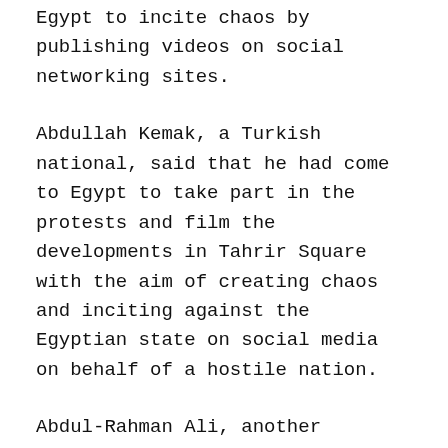Egypt to incite chaos by publishing videos on social networking sites.
Abdullah Kemak, a Turkish national, said that he had come to Egypt to take part in the protests and film the developments in Tahrir Square with the aim of creating chaos and inciting against the Egyptian state on social media on behalf of a hostile nation.
Abdul-Rahman Ali, another Jordanian national and a member of the Jordanian communist party, said that he came to Egypt in September to participate in demonstrations in order to spread chaos, adding that he was arrested while heading to Tahrir Square to film incidents and document the participants in the